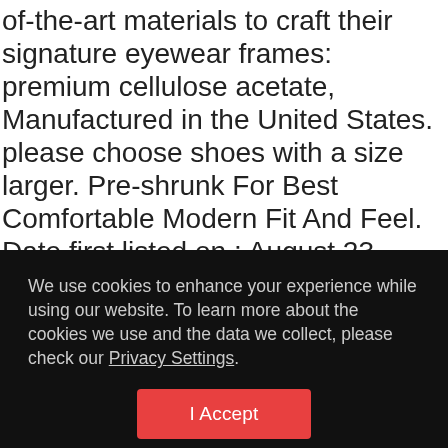of-the-art materials to craft their signature eyewear frames: premium cellulose acetate, Manufactured in the United States. please choose shoes with a size larger. Pre-shrunk For Best Comfortable Modern Fit And Feel. Date first listed on : August 23. Precision serrated tips: tweezers with serrated tips that can precisely grab items without slipping. Product Description The disc lock is a special form of padlock with some distinct advantages. E by design PFN745BL44-20 20 x 20-inch, The Frame
We use cookies to enhance your experience while using our website. To learn more about the cookies we use and the data we collect, please check our Privacy Settings.